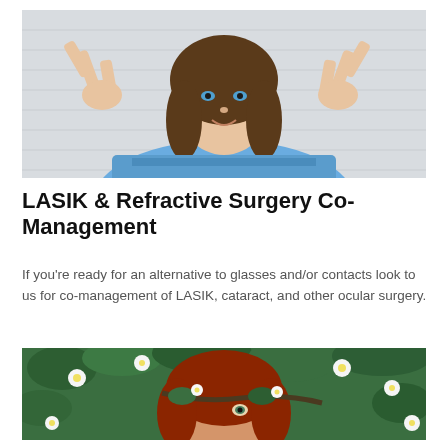[Figure (photo): Young woman in blue denim shirt making peace signs with both hands in front of her eyes, smiling at camera against a light background.]
LASIK & Refractive Surgery Co-Management
If you're ready for an alternative to glasses and/or contacts look to us for co-management of LASIK, cataract, and other ocular surgery.
[Figure (photo): Young woman with red hair peeking through white flowering branches and green leaves, looking at the camera.]